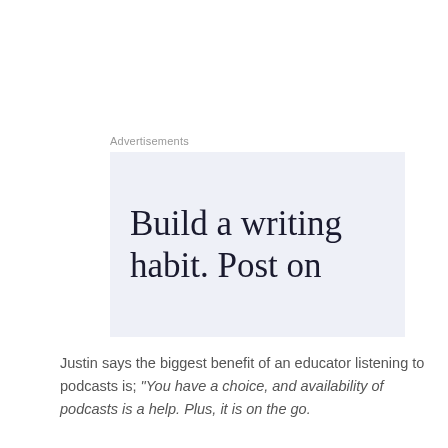Advertisements
[Figure (other): Advertisement banner with text: Build a writing habit. Post on]
Justin says the biggest benefit of an educator listening to podcasts is; "You have a choice, and availability of podcasts is a help. Plus, it is on the go.
Privacy & Cookies: This site uses cookies. By continuing to use this website, you agree to their use.
To find out more, including how to control cookies, see here: Cookie Policy
Close and accept